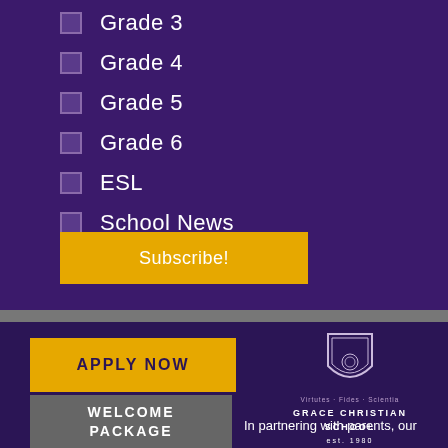Grade 3
Grade 4
Grade 5
Grade 6
ESL
School News
Subscribe!
APPLY NOW
[Figure (logo): Grace Christian School shield logo with laurel wreath]
GRACE CHRISTIAN SCHOOL
est. 1980
WELCOME PACKAGE
In partnering with parents, our